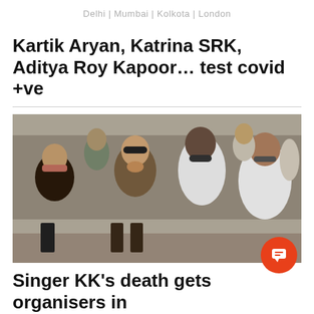Delhi | Mumbai | Kolkota | London
Kartik Aryan, Katrina SRK, Aditya Roy Kapoor… test covid +ve
[Figure (photo): Group of people at a public gathering, a woman in sunglasses and patterned clothes appears distressed, being consoled by others including a woman in white saree (likely Mamata Banerjee). People wearing face masks.]
Singer KK's death gets organisers in